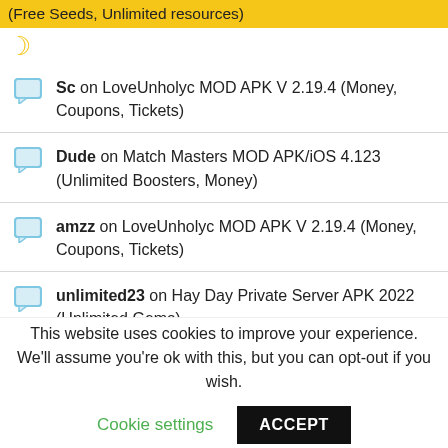(Free Seeds, Unlimited resources)
Sc on LoveUnholyc MOD APK V 2.19.4 (Money, Coupons, Tickets)
Dude on Match Masters MOD APK/iOS 4.123 (Unlimited Boosters, Money)
amzz on LoveUnholyc MOD APK V 2.19.4 (Money, Coupons, Tickets)
unlimited23 on Hay Day Private Server APK 2022 (Unlimited Gems)
This website uses cookies to improve your experience. We'll assume you're ok with this, but you can opt-out if you wish.
Cookie settings  ACCEPT